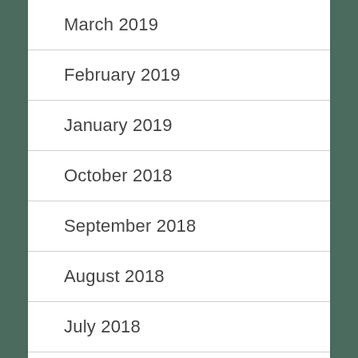March 2019
February 2019
January 2019
October 2018
September 2018
August 2018
July 2018
June 2018
May 2018